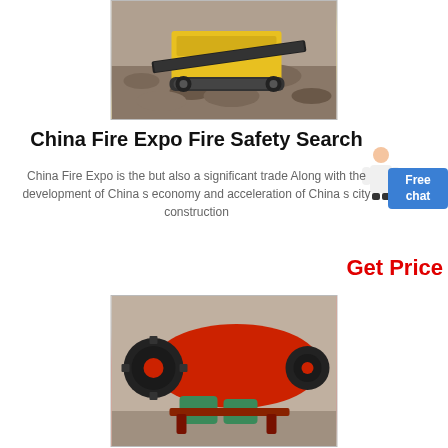[Figure (photo): Yellow mobile crushing machine on gravel/rock terrain]
China Fire Expo Fire Safety Search
China Fire Expo is the but also a significant trade Along with the development of China s economy and acceleration of China s city construction
Get Price
[Figure (photo): Red industrial ball mill machine in a factory setting]